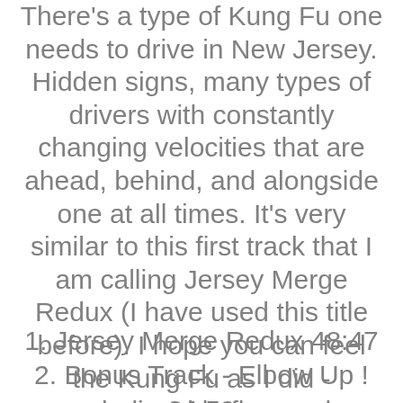There's a type of Kung Fu one needs to drive in New Jersey. Hidden signs, many types of drivers with constantly changing velocities that are ahead, behind, and alongside one at all times. It's very similar to this first track that I am calling Jersey Merge Redux (I have used this title before). I hope you can feel the Kung Fu as I did - unbelievable flow and intelligence from Michael and Mark. Enjoy. T
1. Jersey Merge Redux 48:47
2. Bonus Track - Elbow Up ! 34:59